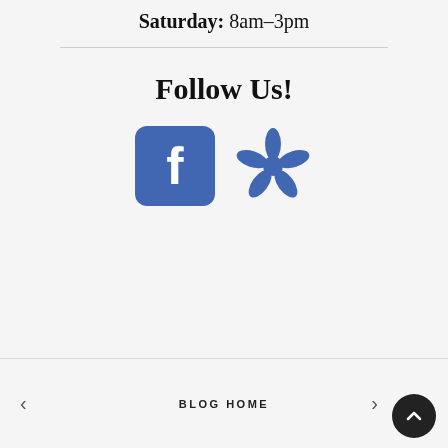Saturday: 8am–3pm
Follow Us!
[Figure (illustration): Facebook icon (blue rounded square with white 'f') and Yelp icon (blue burst/flower shape), side by side]
BLOG HOME